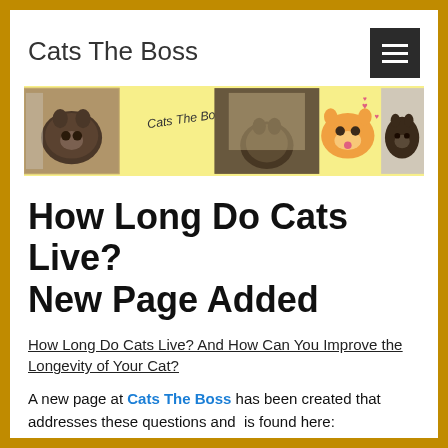Cats The Boss
[Figure (illustration): Website banner with yellow background showing four cat images and 'Cats The Boss' text logo in the center]
How Long Do Cats Live? New Page Added
How Long Do Cats Live? And How Can You Improve the Longevity of Your Cat?
A new page at Cats The Boss has been created that addresses these questions and  is found here: